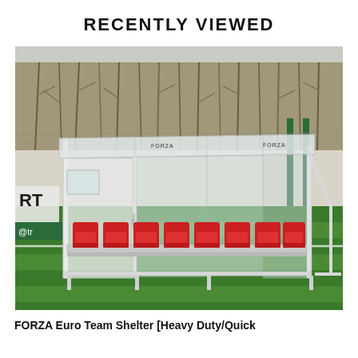RECENTLY VIEWED
[Figure (photo): Photo of a FORZA Euro Team Shelter with white metal frame and red molded seats, situated on a green artificial turf football pitch with trees in the background.]
FORZA Euro Team Shelter [Heavy Duty/Quick